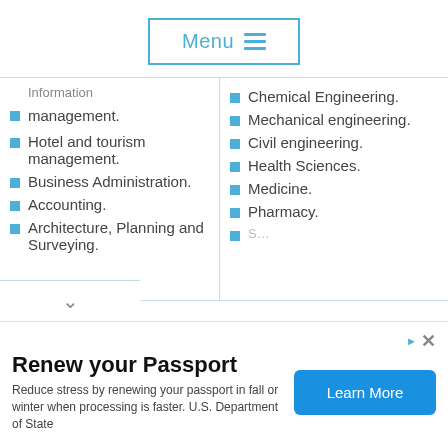[Figure (screenshot): Menu button with hamburger icon, blue border and text]
management. (partial, cut off at top)
Hotel and tourism management.
Business Administration.
Accounting.
Architecture, Planning and Surveying.
Chemical Engineering.
Mechanical engineering.
Civil engineering.
Health Sciences.
Medicine.
Pharmacy.
[Figure (screenshot): Advertisement banner: Renew your Passport – Reduce stress by renewing your passport in fall or winter when processing is faster. U.S. Department of State. Learn More button.]